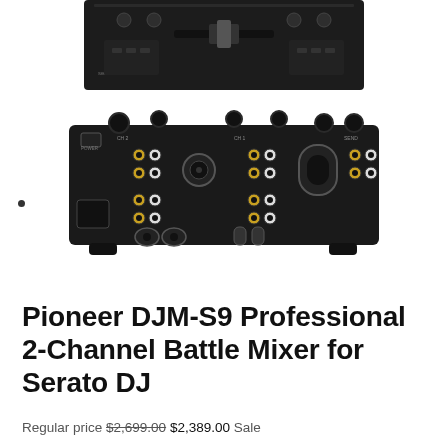[Figure (photo): Top-down view of Pioneer DJM-S9 DJ mixer, black unit showing top panel controls, crossfader, EQ knobs]
[Figure (photo): Rear panel view of Pioneer DJM-S9 DJ mixer showing all inputs/outputs: RCA jacks, XLR connectors, power inlet, USB port, various audio connections]
Pioneer DJM-S9 Professional 2-Channel Battle Mixer for Serato DJ
Regular price $2,699.00 $2,389.00 Sale